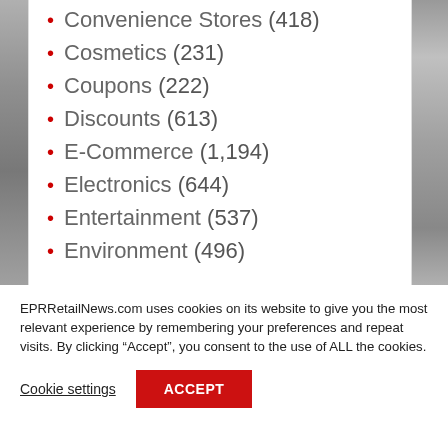Convenience Stores (418)
Cosmetics (231)
Coupons (222)
Discounts (613)
E-Commerce (1,194)
Electronics (644)
Entertainment (537)
Environment (496)
EPRRetailNews.com uses cookies on its website to give you the most relevant experience by remembering your preferences and repeat visits. By clicking “Accept”, you consent to the use of ALL the cookies.
Cookie settings
ACCEPT